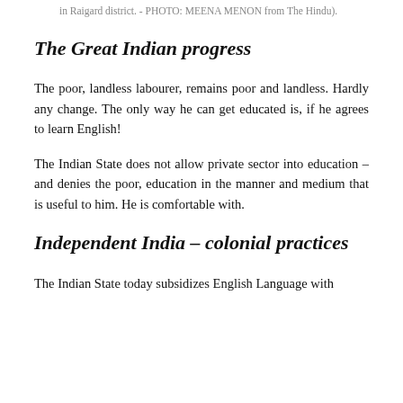in Raigard district. - PHOTO: MEENA MENON from The Hindu).
The Great Indian progress
The poor, landless labourer, remains poor and landless. Hardly any change. The only way he can get educated is, if he agrees to learn English!
The Indian State does not allow private sector into education – and denies the poor, education in the manner and medium that is useful to him. He is comfortable with.
Independent India – colonial practices
The Indian State today subsidizes English Language with